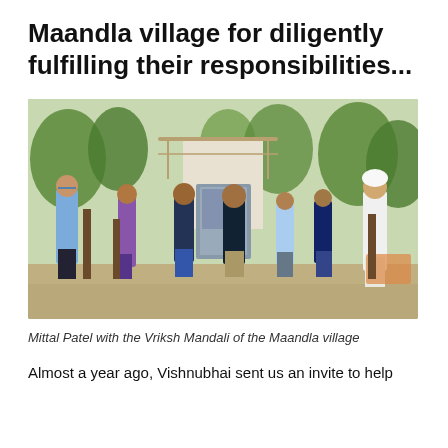Maandla village for diligently fulfilling their responsibilities...
[Figure (photo): Group photo of Mittal Patel standing with the Vriksh Mandali of the Maandla village — seven people standing outdoors in a park with trees and a stone monument in the background.]
Mittal Patel with the Vriksh Mandali of the Maandla village
Almost a year ago, Vishnubhai sent us an invite to help